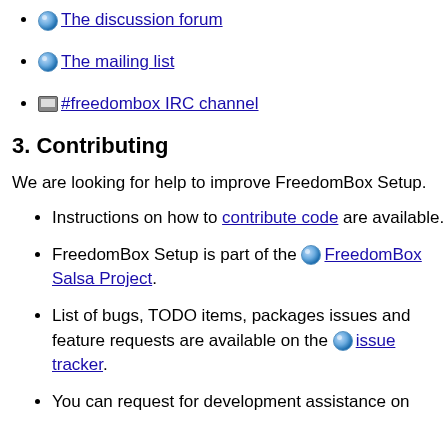The discussion forum
The mailing list
#freedombox IRC channel
3. Contributing
We are looking for help to improve FreedomBox Setup.
Instructions on how to contribute code are available.
FreedomBox Setup is part of the FreedomBox Salsa Project.
List of bugs, TODO items, packages issues and feature requests are available on the issue tracker.
You can request for development assistance on